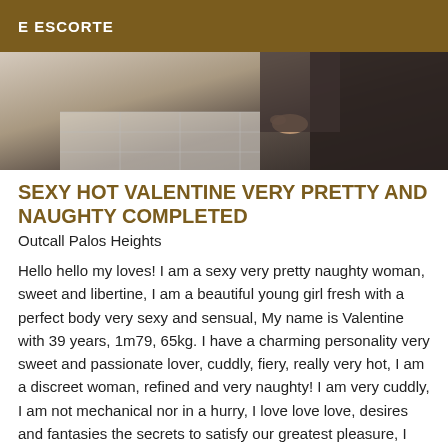E ESCORTE
[Figure (photo): Partial photo showing hands and dark fur or hair texture on a light surface]
SEXY HOT VALENTINE VERY PRETTY AND NAUGHTY COMPLETED
Outcall Palos Heights
Hello hello my loves! I am a sexy very pretty naughty woman, sweet and libertine, I am a beautiful young girl fresh with a perfect body very sexy and sensual, My name is Valentine with 39 years, 1m79, 65kg. I have a charming personality very sweet and passionate lover, cuddly, fiery, really very hot, I am a discreet woman, refined and very naughty! I am very cuddly, I am not mechanical nor in a hurry, I love love love, desires and fantasies the secrets to satisfy our greatest pleasure, I would be your ideal companion to spend with you and to